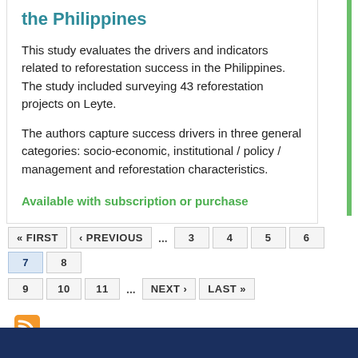the Philippines
This study evaluates the drivers and indicators related to reforestation success in the Philippines. The study included surveying 43 reforestation projects on Leyte.
The authors capture success drivers in three general categories: socio-economic, institutional / policy / management and reforestation characteristics.
Available with subscription or purchase
« FIRST  ‹ PREVIOUS  ...  3  4  5  6  7  8  9  10  11  ...  NEXT ›  LAST »